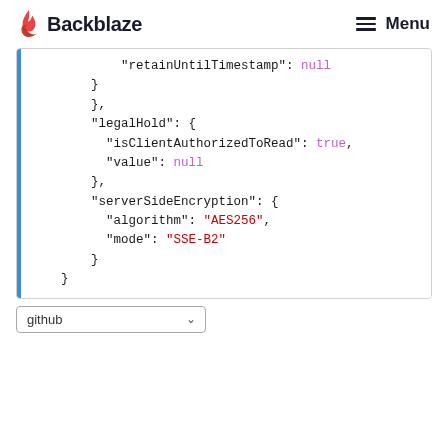Backblaze   Menu
"retainUntilTimestamp": null
        }
        },
        "legalHold": {
          "isClientAuthorizedToRead": true,
          "value": null
        },
        "serverSideEncryption": {
          "algorithm": "AES256",
          "mode": "SSE-B2"
        }
    }
github